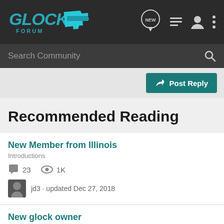Glock Forum
Search Community
Post Reply
Recommended Reading
New Member from Illinois
Introductions
23 comments · 1K views · jd3 · updated Dec 27, 2018
New glock owner
Introductions